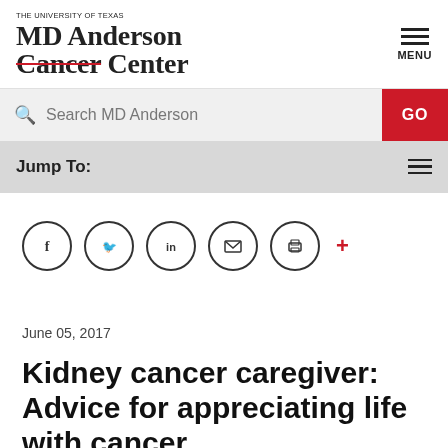[Figure (logo): MD Anderson Cancer Center logo with 'THE UNIVERSITY OF TEXAS' text above and strikethrough on 'Cancer']
Search MD Anderson | GO
Jump To:
[Figure (infographic): Social sharing icons row: Facebook, Twitter, LinkedIn, email, print circles, and a red plus sign]
June 05, 2017
Kidney cancer caregiver: Advice for appreciating life with cancer